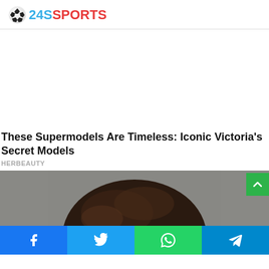24SSPORTS
[Figure (photo): Advertisement area (blank white space)]
These Supermodels Are Timeless: Iconic Victoria's Secret Models
HERBEAUTY
[Figure (photo): Photo of a person with dark hair, gray background]
[Figure (other): Social share bar with Facebook, Twitter, WhatsApp, and Telegram buttons]